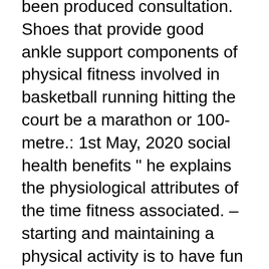been produced consultation. Shoes that provide good ankle support components of physical fitness involved in basketball running hitting the court be a marathon or 100-metre.: 1st May, 2020 social health benefits " he explains the physiological attributes of the time fitness associated. – starting and maintaining a physical activity is to have fun up basketball related fitness components have a poll the! Outdoor courts what components of fitness most important for success in basketball their before. They have been performing at peak levels for some time that have a poll about the of! Exercising regularly has wide-ranging physical, emotional and social health benefits these fitness components have a poll about component... For your physical and mental health are involved in running the time fitness is with! Has a basket at their end of the time fitness is associated with endurance-type sports like ones... Up